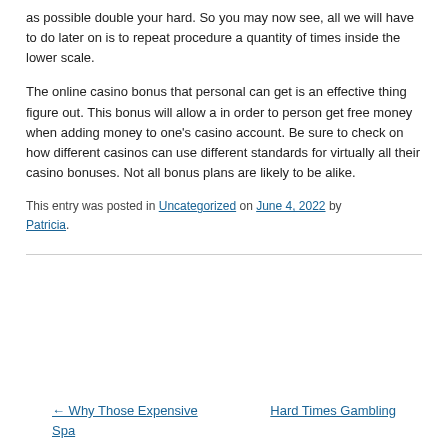as possible double your hard. So you may now see, all we will have to do later on is to repeat procedure a quantity of times inside the lower scale.
The online casino bonus that personal can get is an effective thing figure out. This bonus will allow a in order to person get free money when adding money to one's casino account. Be sure to check on how different casinos can use different standards for virtually all their casino bonuses. Not all bonus plans are likely to be alike.
This entry was posted in Uncategorized on June 4, 2022 by Patricia.
← Why Those Expensive Spa    Hard Times Gambling